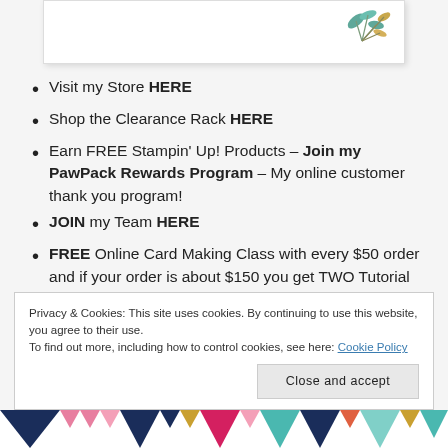[Figure (illustration): Top portion of a decorative card with floral/leaf illustration in teal and gold on white background with border and shadow]
Visit my Store HERE
Shop the Clearance Rack HERE
Earn FREE Stampin' Up! Products – Join my PawPack Rewards Program – My online customer thank you program!
JOIN my Team HERE
FREE Online Card Making Class with every $50 order and if your order is about $150 you get TWO Tutorial
Privacy & Cookies: This site uses cookies. By continuing to use this website, you agree to their use.
To find out more, including how to control cookies, see here: Cookie Policy
Close and accept
[Figure (illustration): Bottom decorative strip with colorful triangle/chevron pattern in pink, navy, gold, coral, and teal]